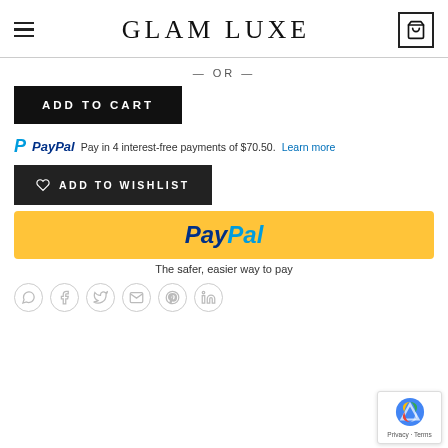GLAM LUXE
— OR —
ADD TO CART
Pay in 4 interest-free payments of $70.50. Learn more
ADD TO WISHLIST
[Figure (logo): PayPal yellow checkout button with PayPal logo text]
The safer, easier way to pay
[Figure (infographic): Social share icons: WhatsApp, Facebook, Twitter, Email, Pinterest, LinkedIn]
[Figure (other): Google reCAPTCHA badge with Privacy and Terms text]